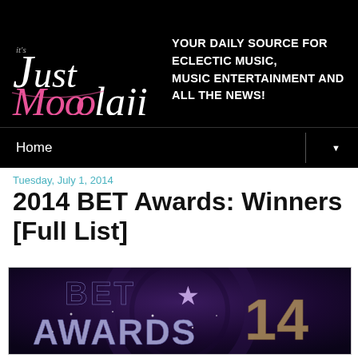It's Just Moodlaji — YOUR DAILY SOURCE FOR ECLECTIC MUSIC, MUSIC ENTERTAINMENT AND ALL THE NEWS!
Home
Tuesday, July 1, 2014
2014 BET Awards: Winners [Full List]
[Figure (photo): BET Awards 14 logo/stage display — large metallic 3D letters spelling BET AWARDS with a star, and the number 14, on a purple/dark stage background]